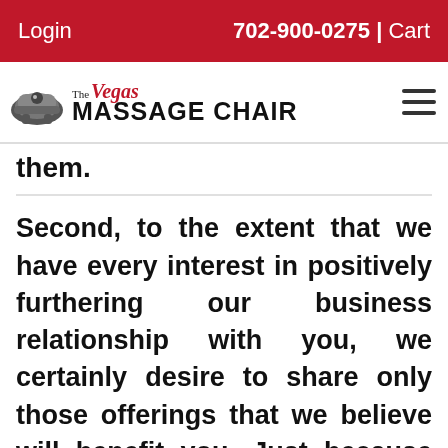Login  702-900-0275 | Cart
[Figure (logo): The Vegas Massage Chair logo with chair icon]
them.
Second, to the extent that we have every interest in positively furthering our business relationship with you, we certainly desire to share only those offerings that we believe will benefit you. Just because we are not the founder or originator of the product or service, we are not going to withhold